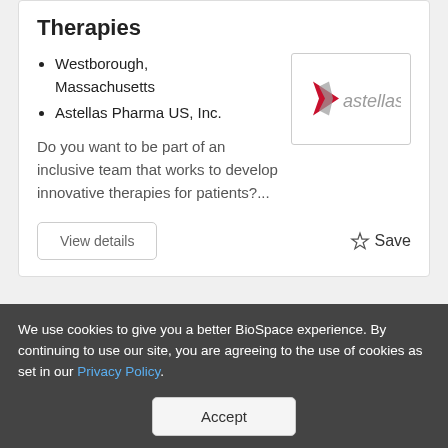Therapies
Westborough, Massachusetts
Astellas Pharma US, Inc.
[Figure (logo): Astellas company logo with red arrow/star icon and grey text 'astellas']
Do you want to be part of an inclusive team that works to develop innovative therapies for patients?...
View details
☆ Save
We use cookies to give you a better BioSpace experience. By continuing to use our site, you are agreeing to the use of cookies as set in our Privacy Policy.
Accept